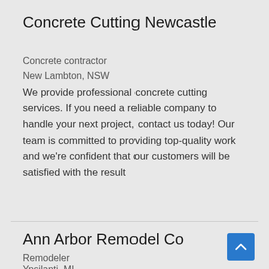Concrete Cutting Newcastle
Concrete contractor
New Lambton, NSW
We provide professional concrete cutting services. If you need a reliable company to handle your next project, contact us today! Our team is committed to providing top-quality work and we're confident that our customers will be satisfied with the result
Ann Arbor Remodel Co
Remodeler
Ypsilanti, MI
Your Ann Arbor Remodeling Contractor